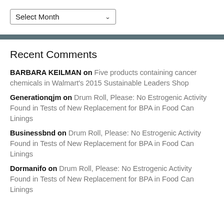[Figure (other): Select Month dropdown widget]
Recent Comments
BARBARA KEILMAN on Five products containing cancer chemicals in Walmart's 2015 Sustainable Leaders Shop
Generationqjm on Drum Roll, Please: No Estrogenic Activity Found in Tests of New Replacement for BPA in Food Can Linings
Businessbnd on Drum Roll, Please: No Estrogenic Activity Found in Tests of New Replacement for BPA in Food Can Linings
Dormanifo on Drum Roll, Please: No Estrogenic Activity Found in Tests of New Replacement for BPA in Food Can Linings